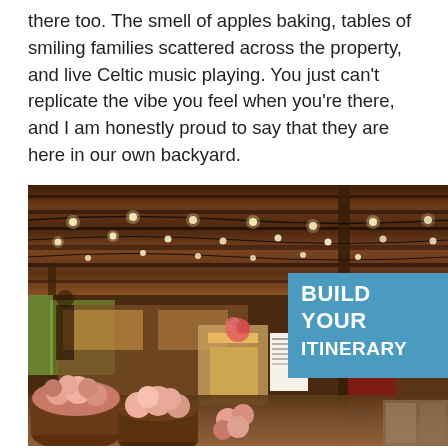there too. The smell of apples baking, tables of smiling families scattered across the property, and live Celtic music playing. You just can't replicate the vibe you feel when you're there, and I am honestly proud to say that they are here in our own backyard.
[Figure (photo): Interior of a rustic open-air barn market with wooden beam ceiling strung with Edison bulb string lights. Foreground shows bushel baskets filled with pink and white popcorn balls. Middle ground shows a popcorn stand/cart and display shelves with various goods. Background shows outdoor festival/market scene with people. A blue banner overlay on the right reads BUILD YOUR ITINERARY in bold white text.]